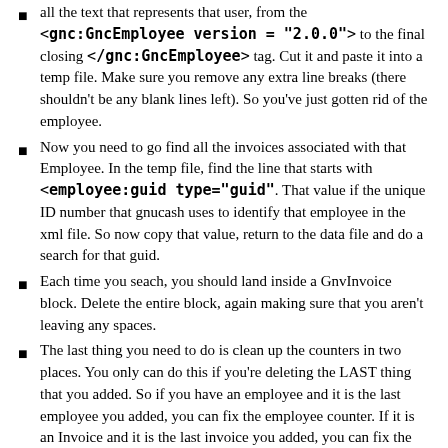all the text that represents that user, from the <gnc:GncEmployee version = "2.0.0"> to the final closing </gnc:GncEmployee> tag. Cut it and paste it into a temp file. Make sure you remove any extra line breaks (there shouldn't be any blank lines left). So you've just gotten rid of the employee.
Now you need to go find all the invoices associated with that Employee. In the temp file, find the line that starts with <employee:guid type="guid". That value if the unique ID number that gnucash uses to identify that employee in the xml file. So now copy that value, return to the data file and do a search for that guid.
Each time you seach, you should land inside a GnvInvoice block. Delete the entire block, again making sure that you aren't leaving any spaces.
The last thing you need to do is clean up the counters in two places. You only can do this if you're deleting the LAST thing that you added. So if you have an employee and it is the last employee you added, you can fix the employee counter. If it is an Invoice and it is the last invoice you added, you can fix the invoice counter. DO NOT CHANGE THE COUNTERS IF WHAT YOU'RE DELETING ISN'T THE LAST THING ADDED.
In XML: Go back to the top of document. Find the block that starts with <book:slots> Inside that